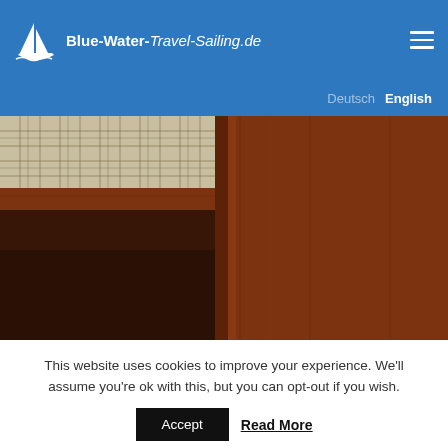Blue-Water-Travel-Sailing.de
[Figure (photo): Interior of a sailboat cabin showing a bunk/berth with plaid fabric cushion and warm teak wood paneling.]
This website uses cookies to improve your experience. We'll assume you're ok with this, but you can opt-out if you wish.
Accept   Read More